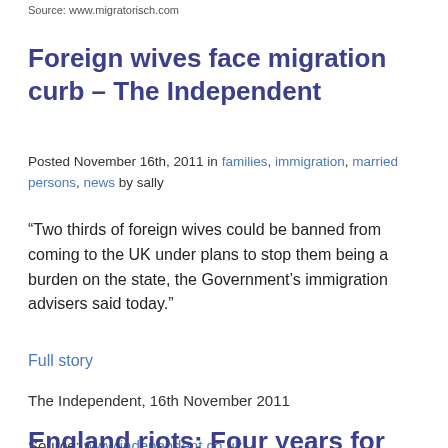Source: www.migratorisch.com
Foreign wives face migration curb – The Independent
Posted November 16th, 2011 in families, immigration, married persons, news by sally
“Two thirds of foreign wives could be banned from coming to the UK under plans to stop them being a burden on the state, the Government’s immigration advisers said today.”
Full story
The Independent, 16th November 2011
Source: www.independent.co.uk
England riots: Four years for Facebook